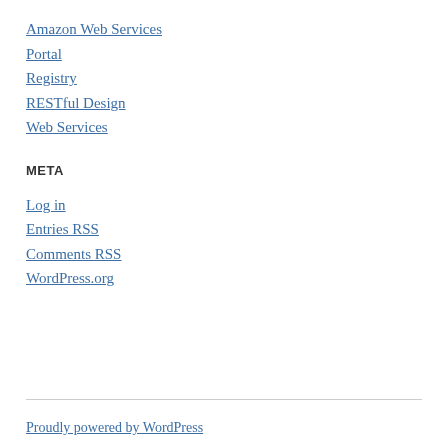Amazon Web Services
Portal
Registry
RESTful Design
Web Services
META
Log in
Entries RSS
Comments RSS
WordPress.org
Proudly powered by WordPress